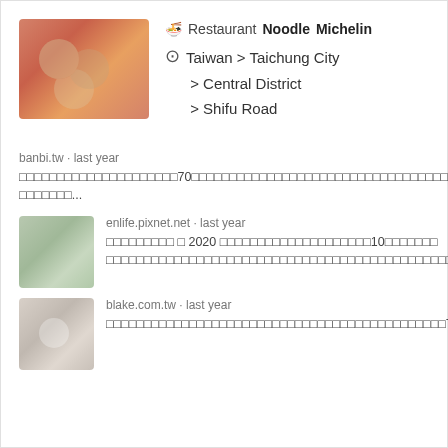[Figure (photo): Blurred food photo showing noodle dish on red/orange background]
🍜 Restaurant  Noodle  Michelin
Taiwan > Taichung City > Central District > Shifu Road
banbi.tw · last year
□□□□□□□□□□□□□□□□□□□□70□□□□□□□□□□□□□□□□□□□□□□□□□□□□□□□□□□□□□□□□□□□□□□□□□□□□□□□□□□□□□□□□□□□□□□□□□□□□□□□□□□□□□□□□□□□□□□□ □□□□□□□...
[Figure (photo): Small blurred thumbnail of food/restaurant]
enlife.pixnet.net · last year
□□□□□□□□□ □ 2020 □□□□□□□□□□□□□□□□□□□□10□□□□□□□ □□□□□□□□□□□□□□□□□□□□□□□□□□□□□□□□□□□□□□□□□□□□□□□□□□□
[Figure (photo): Small blurred thumbnail of food/restaurant]
blake.com.tw · last year
□□□□□□□□□□□□□□□□□□□□□□□□□□□□□□□□□□□□□□□□□□□□□7□□□□□□□□□□□□1□□□□□□□□□□□□□□□□□□□□□□□□□□□□□□□□□□□□□□□□□□□□7...